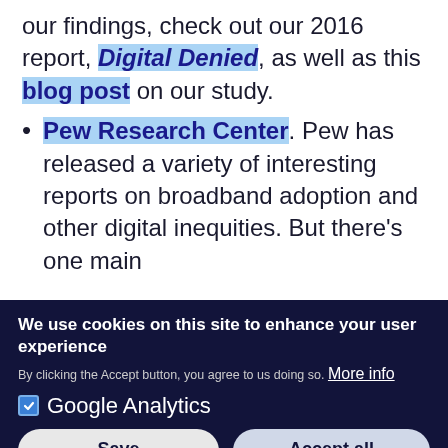our findings, check out our 2016 report, Digital Denied, as well as this blog post on our study.
Pew Research Center. Pew has released a variety of interesting reports on broadband adoption and other digital inequities. But there's one main
We use cookies on this site to enhance your user experience
By clicking the Accept button, you agree to us doing so. More info
Google Analytics
Save preferences
Accept all cookies